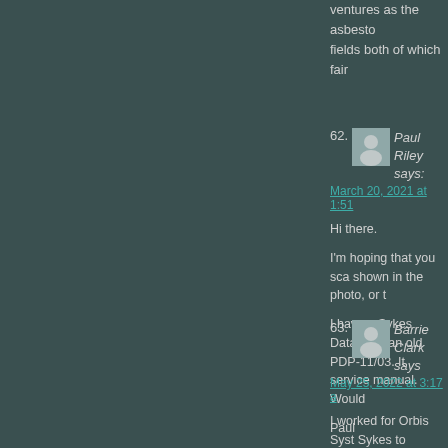ventures as the asbestо fields both of which fair
62. Paul Riley says:
March 20, 2021 at 1:51

Hi there.

I'm hoping that you sca shown in the photo, or t

I have a Sykes Datatro to an old PDP-11/03. It service manual. Would

Paul
63. Barrie Clark says:
May 25, 2022 at 3:17 a

I worked for Orbis Syst Sykes to manufacture o purchased parts from o